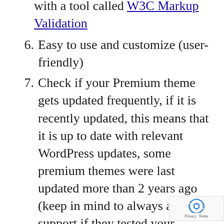with a tool called W3C Markup Validation
6. Easy to use and customize (user-friendly)
7. Check if your Premium theme gets updated frequently, if it is recently updated, this means that it is up to date with relevant WordPress updates, some premium themes were last updated more than 2 years ago (keep in mind to always ask the support if they tested your desired theme against the latest